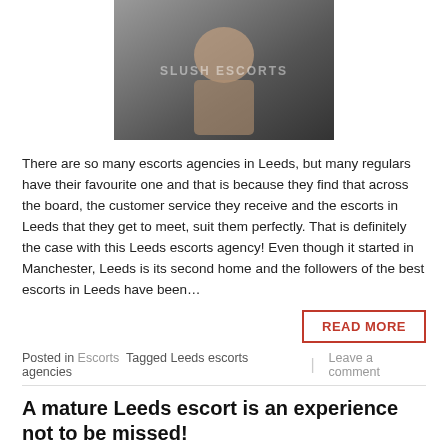[Figure (photo): Woman in lingerie posing, with watermark text 'SLUSH ESCORTS' overlaid on image]
There are so many escorts agencies in Leeds, but many regulars have their favourite one and that is because they find that across the board, the customer service they receive and the escorts in Leeds that they get to meet, suit them perfectly. That is definitely the case with this Leeds escorts agency! Even though it started in Manchester, Leeds is its second home and the followers of the best escorts in Leeds have been…
READ MORE
Posted in Escorts Tagged Leeds escorts agencies | Leave a comment
A mature Leeds escort is an experience not to be missed!
Posted on January 7, 2022